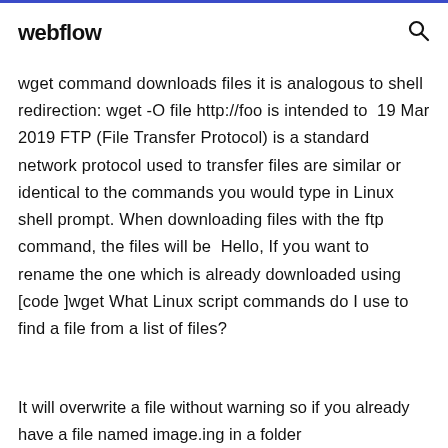webflow
wget command downloads files it is analogous to shell redirection: wget -O file http://foo is intended to  19 Mar 2019 FTP (File Transfer Protocol) is a standard network protocol used to transfer files are similar or identical to the commands you would type in Linux shell prompt. When downloading files with the ftp command, the files will be  Hello, If you want to rename the one which is already downloaded using [code ]wget What Linux script commands do I use to find a file from a list of files?
It will overwrite a file without warning so if you already have a file named image.ing in a folder